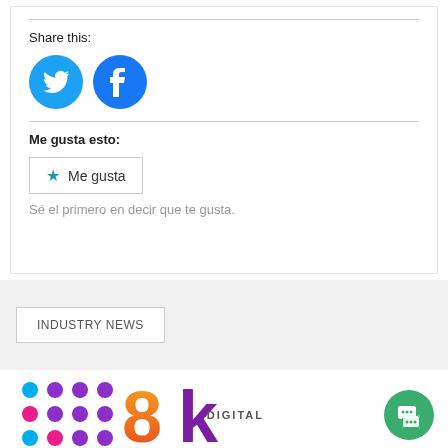Share this:
[Figure (logo): Twitter and Facebook circular social media share icons in blue]
Me gusta esto:
[Figure (other): Me gusta (Like) button with star icon]
Sé el primero en decir que te gusta.
INDUSTRY NEWS
[Figure (logo): 8k Digital colorful logo with dot grid and gradient 8k letters]
[Figure (other): Green chat bubble button in bottom right corner]